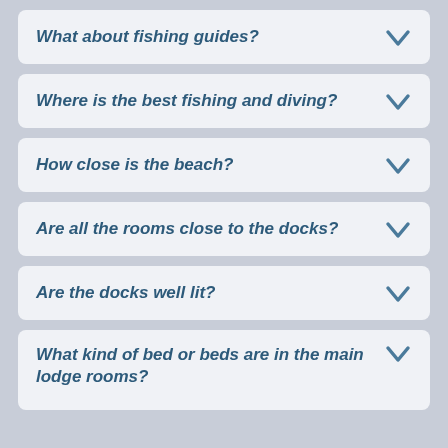What about fishing guides?
Where is the best fishing and diving?
How close is the beach?
Are all the rooms close to the docks?
Are the docks well lit?
What kind of bed or beds are in the main lodge rooms?